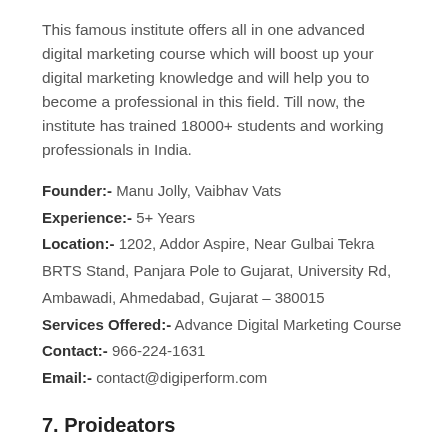This famous institute offers all in one advanced digital marketing course which will boost up your digital marketing knowledge and will help you to become a professional in this field. Till now, the institute has trained 18000+ students and working professionals in India.
Founder:- Manu Jolly, Vaibhav Vats
Experience:- 5+ Years
Location:- 1202, Addor Aspire, Near Gulbai Tekra BRTS Stand, Panjara Pole to Gujarat, University Rd, Ambawadi, Ahmedabad, Gujarat – 380015
Services Offered:- Advance Digital Marketing Course
Contact:- 966-224-1631
Email:- contact@digiperform.com
7. Proideators
This institute is famous for its excellent training